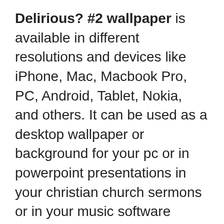Delirious? #2 wallpaper is available in different resolutions and devices like iPhone, Mac, Macbook Pro, PC, Android, Tablet, Nokia, and others. It can be used as a desktop wallpaper or background for your pc or in powerpoint presentations in your christian church sermons or in your music software